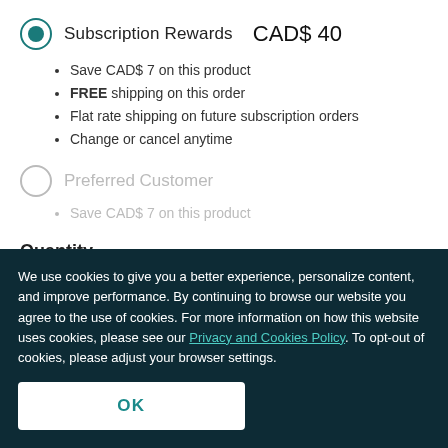Subscription Rewards CAD$ 40
Save CAD$ 7 on this product
FREE shipping on this order
Flat rate shipping on future subscription orders
Change or cancel anytime
Preferred Customer
Save CAD$ 7 on this product
Quantity
We use cookies to give you a better experience, personalize content, and improve performance. By continuing to browse our website you agree to the use of cookies. For more information on how this website uses cookies, please see our Privacy and Cookies Policy. To opt-out of cookies, please adjust your browser settings.
OK